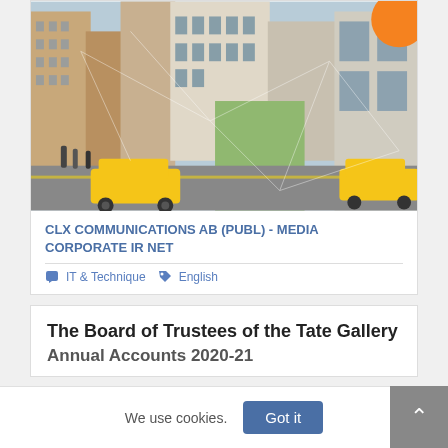[Figure (photo): Street-level photo of urban cityscape with yellow taxi cabs, tall buildings, pedestrians, and an orange circle graphic overlay in the top-right corner. Decorative network/web graphic overlaid on the image.]
CLX COMMUNICATIONS AB (PUBL) - MEDIA CORPORATE IR NET
IT & Technique   English
The Board of Trustees of the Tate Gallery Annual Accounts 2020-21
We use cookies.